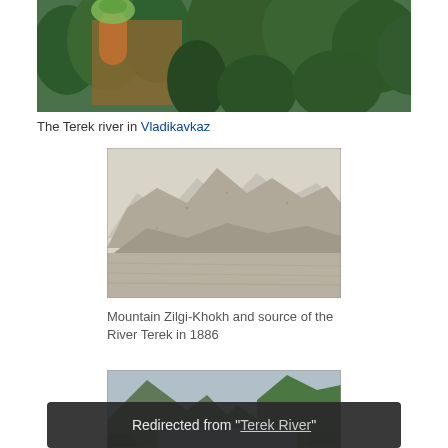[Figure (photo): Aerial or elevated view of the Terek river area in Vladikavkaz, showing trees, buildings and a domed structure]
The Terek river in Vladikavkaz
[Figure (photo): Black and white historical photograph of Mountain Zilgi-Khokh and the source of the River Terek in 1886, showing mountain peaks and a valley]
Mountain Zilgi-Khokh and source of the River Terek in 1886
[Figure (photo): Color photograph showing mountains and a river valley, partially visible at the bottom of the page]
Redirected from "Terek River"